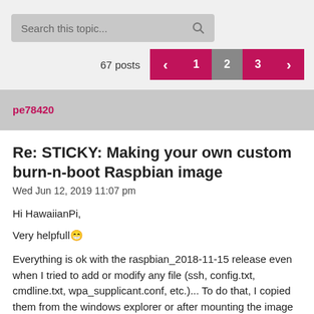Search this topic...
67 posts
Username: pe78420
Re: STICKY: Making your own custom burn-n-boot Raspbian image
Wed Jun 12, 2019 11:07 pm
Hi HawaiianPi,
Very helpfull 😄
Everything is ok with the raspbian_2018-11-15 release even when I tried to add or modify any file (ssh, config.txt, cmdline.txt, wpa_supplicant.conf, etc.)... To do that, I copied them from the windows explorer or after mounting the image